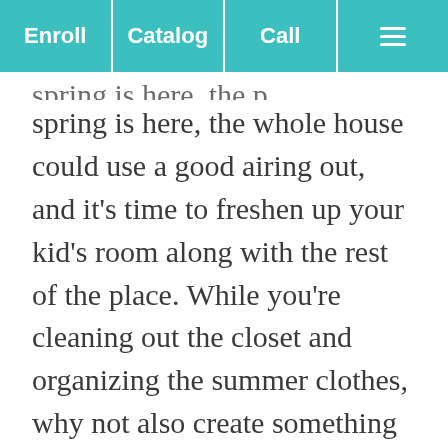Enroll | Catalog | Call | ☰
spring is here, the whole house could use a good airing out, and it's time to freshen up your kid's room along with the rest of the place. While you're cleaning out the closet and organizing the summer clothes, why not also create something beautiful on the walls? Just because your kid is a kid doesn't mean she can't appreciate a new look for this